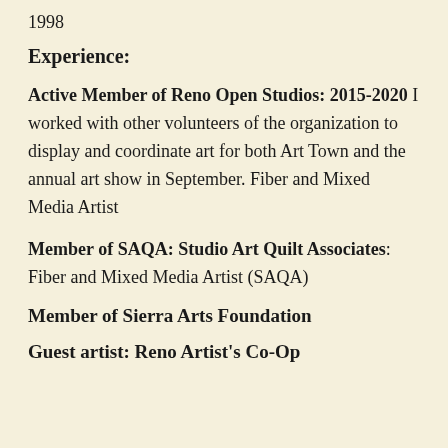1998
Experience:
Active Member of Reno Open Studios: 2015-2020 I worked with other volunteers of the organization to display and coordinate art for both Art Town and the annual art show in September. Fiber and Mixed Media Artist
Member of SAQA: Studio Art Quilt Associates: Fiber and Mixed Media Artist (SAQA)
Member of Sierra Arts Foundation
Guest artist: Reno Artist's Co-Op